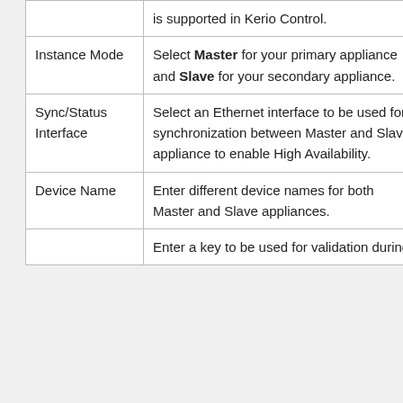| Field | Description |
| --- | --- |
|  | is supported in Kerio Control. |
| Instance Mode | Select Master for your primary appliance and Slave for your secondary appliance. |
| Sync/Status Interface | Select an Ethernet interface to be used for synchronization between Master and Slave appliance to enable High Availability. |
| Device Name | Enter different device names for both Master and Slave appliances. |
|  | Enter a key to be used for validation during |